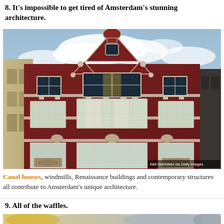8. It's impossible to get tired of Amsterdam's stunning architecture.
[Figure (photo): Upward-angled photo of an ornate Amsterdam canal house facade with red brick, white stone detailing, large multi-pane windows, and decorative gabled roofline against a partly cloudy blue sky. Credit: Neil Setchfield via Getty Images]
Canal houses, windmills, Renaissance buildings and contemporary structures all contribute to Amsterdam's unique architecture.
9. All of the waffles.
[Figure (photo): Partially visible blurred photo of waffles, cropped at bottom of page.]